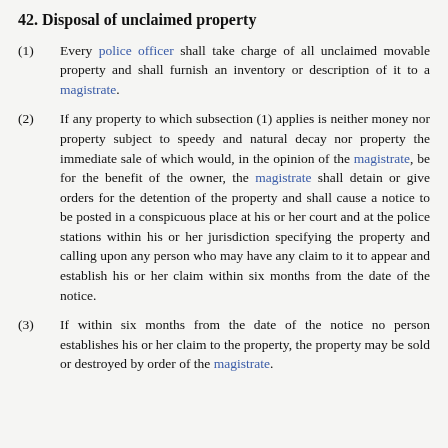42. Disposal of unclaimed property
(1) Every police officer shall take charge of all unclaimed movable property and shall furnish an inventory or description of it to a magistrate.
(2) If any property to which subsection (1) applies is neither money nor property subject to speedy and natural decay nor property the immediate sale of which would, in the opinion of the magistrate, be for the benefit of the owner, the magistrate shall detain or give orders for the detention of the property and shall cause a notice to be posted in a conspicuous place at his or her court and at the police stations within his or her jurisdiction specifying the property and calling upon any person who may have any claim to it to appear and establish his or her claim within six months from the date of the notice.
(3) If within six months from the date of the notice no person establishes his or her claim to the property, the property may be sold or destroyed by order of the magistrate.